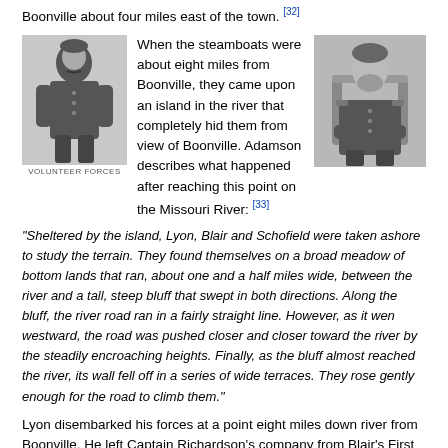Boonville about four miles east of the town. [32]
[Figure (photo): Black and white portrait illustration of a Civil War era military officer standing in uniform]
When the steamboats were about eight miles from Boonville, they came upon an island in the river that completely hid them from view of Boonville. Adamson describes what happened after reaching this point on the Missouri River: [33]
[Figure (photo): Black and white photograph of a bearded Civil War era military officer seated in uniform]
"Sheltered by the island, Lyon, Blair and Schofield were taken ashore to study the terrain. They found themselves on a broad meadow of bottom lands that ran, about one and a half miles wide, between the river and a tall, steep bluff that swept in both directions. Along the bluff, the river road ran in a fairly straight line. However, as it wen westward, the road was pushed closer and closer toward the river by the steadily encroaching heights. Finally, as the bluff almost reached the river, its wall fell off in a series of wide terraces. They rose gently enough for the road to climb them."
Lyon disembarked his forces at a point eight miles down river from Boonville. He left Captain Richardson's company from Blair's First Missouri Volunteer Regiment on board the A. McDowell steamboat with an 8-inch howitzer. Lyon instructed them to continue upstream to within the howitzer's range of the State Guard camp and begin shelling the camp. [34]